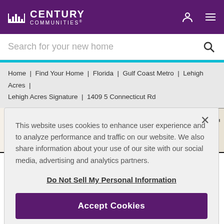Century Communities®
Search for your new home
Home | Find Your Home | Florida | Gulf Coast Metro | Lehigh Acres | Lehigh Acres Signature | 1409 5 Connecticut Rd
[Figure (illustration): Floor plan excerpt showing Dining Room, Bath 2, and Bedroom 2 rooms with walls and fixtures]
This website uses cookies to enhance user experience and to analyze performance and traffic on our website. We also share information about your use of our site with our social media, advertising and analytics partners.
Do Not Sell My Personal Information
Accept Cookies